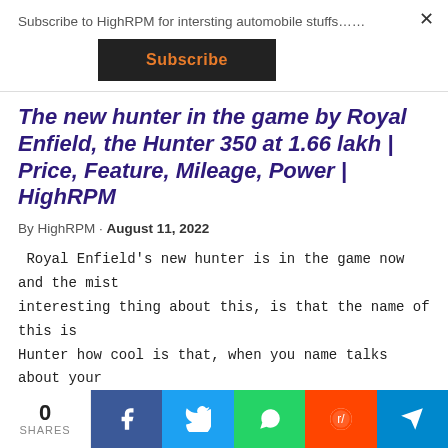Subscribe to HighRPM for intersting automobile stuffs……
Subscribe
The new hunter in the game by Royal Enfield, the Hunter 350 at 1.66 lakh | Price, Feature, Mileage, Power | HighRPM
By HighRPM · August 11, 2022
Royal Enfield's new hunter is in the game now and the mist interesting thing about this, is that the name of this is Hunter how cool is that, when you name talks about your
0 SHARES